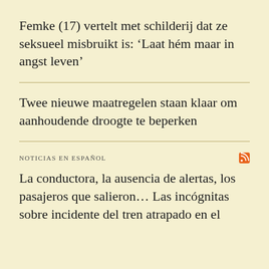Femke (17) vertelt met schilderij dat ze seksueel misbruikt is: ‘Laat hém maar in angst leven’
Twee nieuwe maatregelen staan klaar om aanhoudende droogte te beperken
NOTICIAS EN ESPAÑOL
La conductora, la ausencia de alertas, los pasajeros que salieron… Las incógnitas sobre incidente del tren atrapado en el